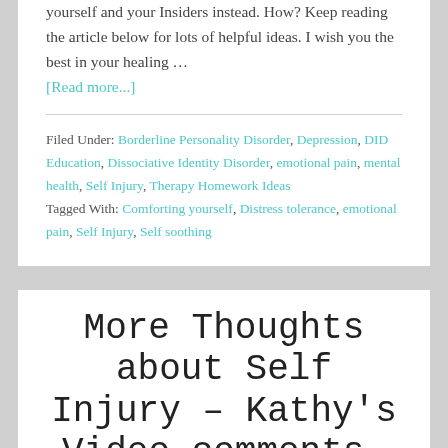yourself and your Insiders instead. How? Keep reading the article below for lots of helpful ideas. I wish you the best in your healing …
[Read more...]
Filed Under: Borderline Personality Disorder, Depression, DID Education, Dissociative Identity Disorder, emotional pain, mental health, Self Injury, Therapy Homework Ideas Tagged With: Comforting yourself, Distress tolerance, emotional pain, Self Injury, Self soothing
More Thoughts about Self Injury – Kathy's Video comments, Self Injury2.